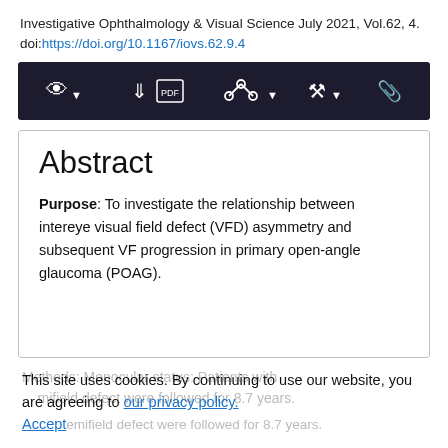Investigative Ophthalmology & Visual Science July 2021, Vol.62, 4. doi:https://doi.org/10.1167/iovs.62.9.4
[Figure (screenshot): Dark toolbar with icons for view, download, PDF download, share, tools, and attachment]
Abstract
Purpose: To investigate the relationship between intereye visual field defect (VFD) asymmetry and subsequent VF progression in primary open-angle glaucoma (POAG).
This site uses cookies. By continuing to use our website, you are agreeing to our privacy policy. Accept
Methods: Monocular status: Patients with... single hemifield defect were followed for 8.7 years.